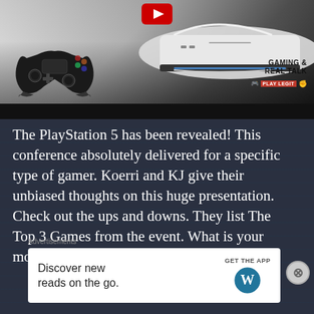[Figure (screenshot): YouTube thumbnail showing a PlayStation 5 console and DualSense controller with a YouTube play button overlay. Brand label reads 'GAMING & REAL TALK' with 'PLAY LEGIT' in red box.]
The PlayStation 5 has been revealed! This conference absolutely delivered for a specific type of gamer.  Koerri and KJ give their unbiased thoughts on this huge presentation. Check out the ups and downs. They list The Top 3 Games from the event.  What is your most anticipated
[Figure (screenshot): Advertisement banner: 'Discover new reads on the go. GET THE APP' with WordPress logo. Preceded by 'Advertisements' label.]